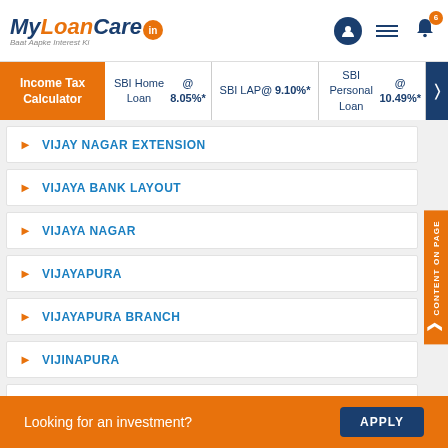[Figure (logo): MyLoanCare.in logo with tagline 'Baat Aapke Interest Ki']
Income Tax Calculator | SBI Home Loan @ 8.05%* | SBI LAP @ 9.10%* | SBI Personal Loan @ 10.49%*
VIJAY NAGAR EXTENSION
VIJAYA BANK LAYOUT
VIJAYA NAGAR
VIJAYAPURA
VIJAYAPURA BRANCH
VIJINAPURA
VIKASA SOUDHA
Looking for an investment? APPLY